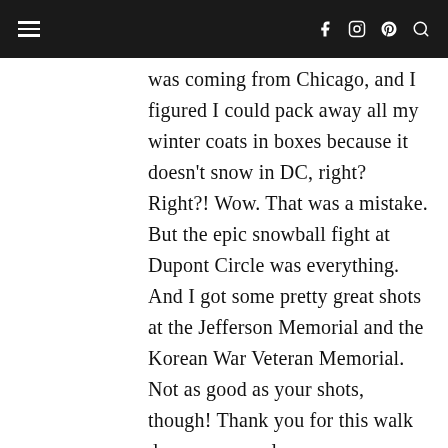Navigation bar with hamburger menu and social icons (facebook, instagram, pinterest, search)
was coming from Chicago, and I figured I could pack away all my winter coats in boxes because it doesn't snow in DC, right? Right?! Wow. That was a mistake. But the epic snowball fight at Dupont Circle was everything. And I got some pretty great shots at the Jefferson Memorial and the Korean War Veteran Memorial. Not as good as your shots, though! Thank you for this walk down memory lane.